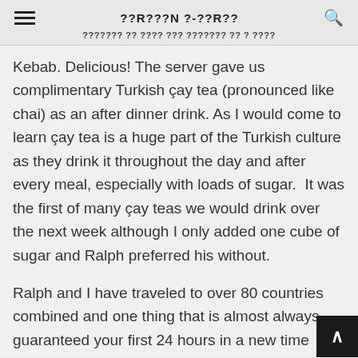??R???N ?-??R??
??????? ?? ???? ??? ??????? ?? ? ????
Kebab. Delicious! The server gave us complimentary Turkish çay tea (pronounced like chai) as an after dinner drink. As I would come to learn çay tea is a huge part of the Turkish culture as they drink it throughout the day and after every meal, especially with loads of sugar.  It was the first of many çay teas we would drink over the next week although I only added one cube of sugar and Ralph preferred his without.
Ralph and I have traveled to over 80 countries combined and one thing that is almost always guaranteed your first 24 hours in a new time zone of